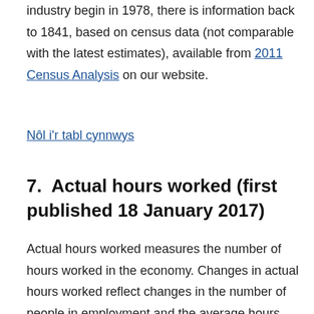industry begin in 1978, there is information back to 1841, based on census data (not comparable with the latest estimates), available from 2011 Census Analysis on our website.
Nôl i'r tabl cynnwys
7.  Actual hours worked (first published 18 January 2017)
Actual hours worked measures the number of hours worked in the economy. Changes in actual hours worked reflect changes in the number of people in employment and the average hours worked by those people.